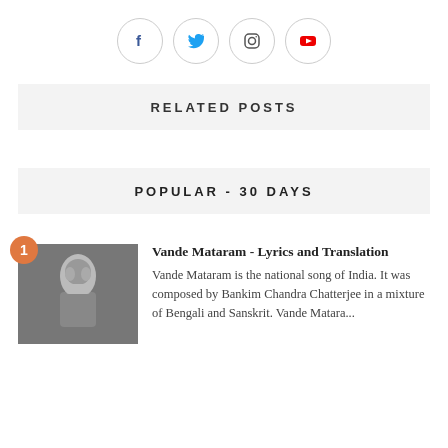[Figure (other): Row of four social media icon circles: Facebook, Twitter, Instagram, YouTube]
RELATED POSTS
POPULAR - 30 DAYS
[Figure (photo): Black and white thumbnail photo of a woman singing]
Vande Mataram - Lyrics and Translation
Vande Mataram is the national song of India. It was composed by Bankim Chandra Chatterjee in a mixture of Bengali and Sanskrit. Vande Matara...